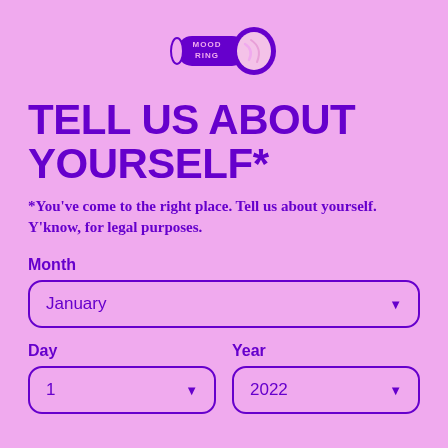[Figure (logo): Mood Ring logo — a purple ring/band with 'MOOD RING' text and a pink marbled stone]
TELL US ABOUT YOURSELF*
*You've come to the right place. Tell us about yourself. Y'know, for legal purposes.
Month
January
Day
Year
1
2022